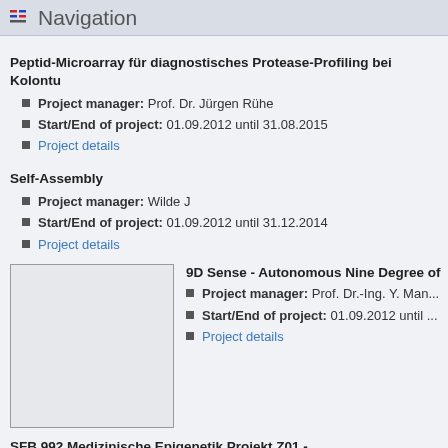Navigation
Peptid-Microarray für diagnostisches Protease-Profiling bei Kolontu...
Project manager: Prof. Dr. Jürgen Rühe
Start/End of project: 01.09.2012 until 31.08.2015
Project details
Self-Assembly
Project manager: Wilde J
Start/End of project: 01.09.2012 until 31.12.2014
Project details
[Figure (photo): Blank/placeholder image box]
9D Sense - Autonomous Nine Degree of...
Project manager: Prof. Dr.-Ing. Y. Man...
Start/End of project: 01.09.2012 until ...
Project details
SFB 992 Medizinische Epigenetik Projekt Z01 - Tiefensequenzierung...
Project manager: Prof. Dr. Rolf Backofen